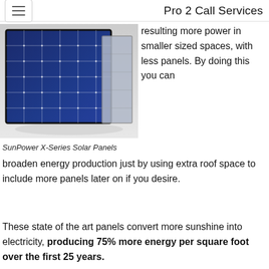Pro 2 Call Services
[Figure (photo): SunPower X-Series Solar Panels — dark blue solar panel modules with white grid lines, shown at an angle against a light background]
SunPower X-Series Solar Panels
resulting more power in smaller sized spaces, with less panels. By doing this you can broaden energy production just by using extra roof space to include more panels later on if you desire.
These state of the art panels convert more sunshine into electricity, producing 75% more energy per square foot over the first 25 years.